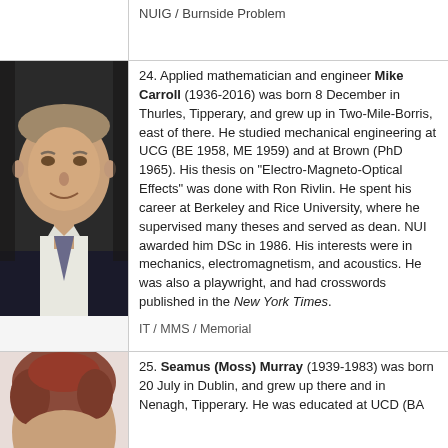NUIG / Burnside Problem
[Figure (photo): Headshot of Mike Carroll, an older man in a suit, smiling.]
24. Applied mathematician and engineer Mike Carroll (1936-2016) was born 8 December in Thurles, Tipperary, and grew up in Two-Mile-Borris, east of there. He studied mechanical engineering at UCG (BE 1958, ME 1959) and at Brown (PhD 1965). His thesis on "Electro-Magneto-Optical Effects" was done with Ron Rivlin. He spent his career at Berkeley and Rice University, where he supervised many theses and served as dean. NUI awarded him DSc in 1986. His interests were in mechanics, electromagnetism, and acoustics. He was also a playwright, and had crosswords published in the New York Times.
IT / MMS / Memorial
[Figure (photo): Partial headshot of Seamus (Moss) Murray, showing the top of his head with reddish-brown hair.]
25. Seamus (Moss) Murray (1939-1983) was born 20 July in Dublin, and grew up there and in Nenagh, Tipperary. He was educated at UCD (BA ...